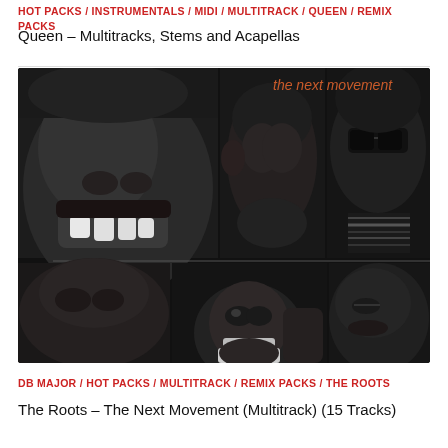HOT PACKS / INSTRUMENTALS / MIDI / MULTITRACK / QUEEN / REMIX PACKS
Queen – Multitracks, Stems and Acapellas
[Figure (photo): Album cover for The Roots – The Next Movement. Black and white photo collage of multiple faces arranged in a grid, with the text 'the next movement' in orange in the upper right corner. Dark, moody photography showing close-up portraits of band members.]
DB MAJOR / HOT PACKS / MULTITRACK / REMIX PACKS / THE ROOTS
The Roots – The Next Movement (Multitrack) (15 Tracks)